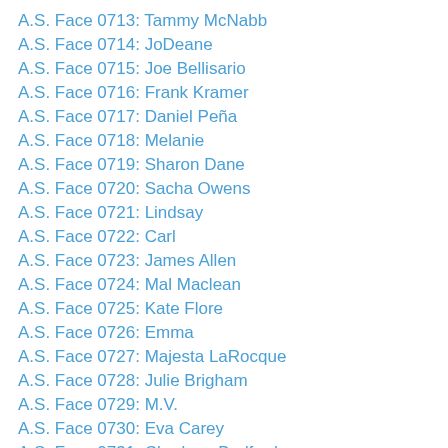A.S. Face 0713: Tammy McNabb
A.S. Face 0714: JoDeane
A.S. Face 0715: Joe Bellisario
A.S. Face 0716: Frank Kramer
A.S. Face 0717: Daniel Peña
A.S. Face 0718: Melanie
A.S. Face 0719: Sharon Dane
A.S. Face 0720: Sacha Owens
A.S. Face 0721: Lindsay
A.S. Face 0722: Carl
A.S. Face 0723: James Allen
A.S. Face 0724: Mal Maclean
A.S. Face 0725: Kate Flore
A.S. Face 0726: Emma
A.S. Face 0727: Majesta LaRocque
A.S. Face 0728: Julie Brigham
A.S. Face 0729: M.V.
A.S. Face 0730: Eva Carey
A.S. Face 0731: Charlene Bedford
A.S. Face 0732: Krista C...